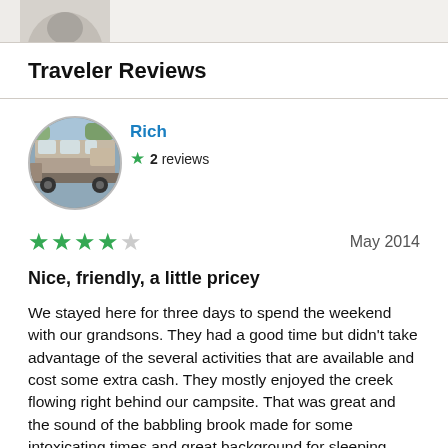[Figure (photo): Top partial view of a user profile photo (cropped RV/motorhome image in circular avatar shape) with gray background bar]
Traveler Reviews
[Figure (photo): Circular profile photo of reviewer 'Rich' showing an RV/motorhome parked outdoors]
Rich
★ 2 reviews
★★★★☆  May 2014
Nice, friendly, a little pricey
We stayed here for three days to spend the weekend with our grandsons. They had a good time but didn't take advantage of the several activities that are available and cost some extra cash. They mostly enjoyed the creek flowing right behind our campsite. That was great and the sound of the babbling brook made for some intoxicating times and great background for sleeping. The cost was $70 per night / $210 total. Some of this was the extra adult and two kids.